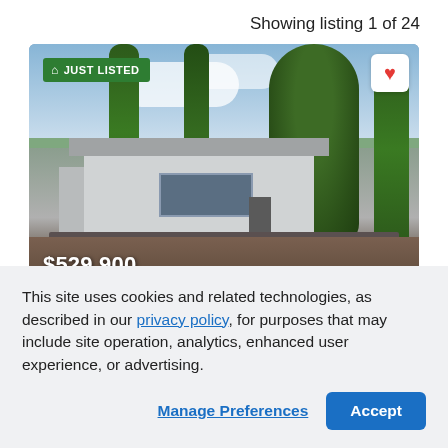Showing listing 1 of 24
[Figure (photo): Real estate listing photo of a single-story house with trees, priced at $529,900, with a 'Just Listed' badge and a heart/favorite button]
This site uses cookies and related technologies, as described in our privacy policy, for purposes that may include site operation, analytics, enhanced user experience, or advertising.
Manage Preferences
Accept